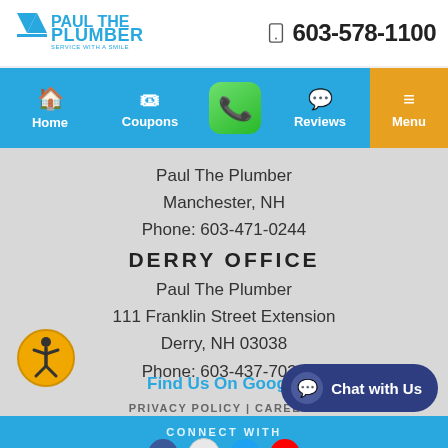Paul The Plumber — 603-578-1100
[Figure (screenshot): Navigation bar with Home, Coupons, phone call button, Reviews, and Menu]
Paul The Plumber
Manchester, NH
Phone: 603-471-0244
DERRY OFFICE
Paul The Plumber
111 Franklin Street Extension
Derry, NH 03038
Phone: 603-437-7039
Find Us On Google
PRIVACY POLICY | CAREERS
CONNECT WITH
[Figure (illustration): Social media icons: Facebook, Google, Twitter, YouTube]
[Figure (infographic): Chat with Us button overlay]